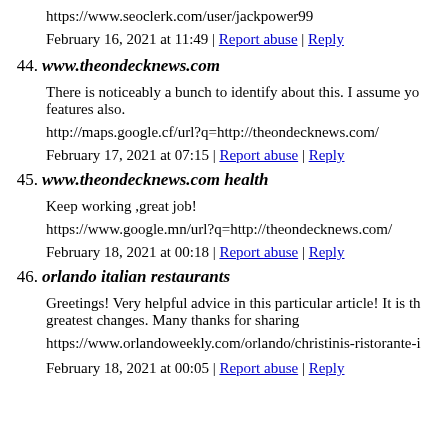https://www.seoclerk.com/user/jackpower99
February 16, 2021 at 11:49 | Report abuse | Reply
44. www.theondecknews.com
There is noticeably a bunch to identify about this. I assume yo... features also.
http://maps.google.cf/url?q=http://theondecknews.com/
February 17, 2021 at 07:15 | Report abuse | Reply
45. www.theondecknews.com health
Keep working ,great job!
https://www.google.mn/url?q=http://theondecknews.com/
February 18, 2021 at 00:18 | Report abuse | Reply
46. orlando italian restaurants
Greetings! Very helpful advice in this particular article! It is th... greatest changes. Many thanks for sharing
https://www.orlandoweekly.com/orlando/christinis-ristorante-i...
February 18, 2021 at 00:05 | Report abuse | Reply